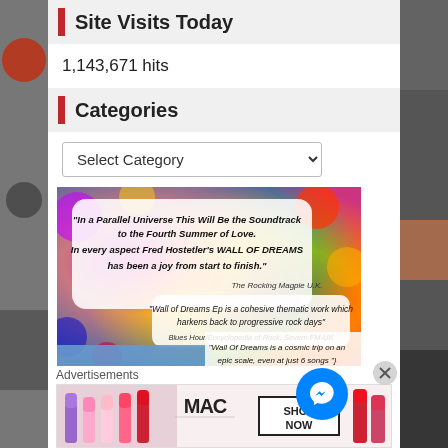Site Visits Today
1,143,671 hits
Categories
[Figure (screenshot): Dropdown select box with label 'Select Category' and a chevron arrow on the right]
[Figure (photo): Colorful psychedelic music promotional banner with quotes about 'Wall of Dreams' by Fred Hostetler. Quotes from The Rocking Magpie U.K., Blues Hour/Encyclopedia of Rock Severn FM-UK, and a third partial quote about Wall Of Dreams being a cosmic trip.]
Advertisements
[Figure (screenshot): MAC cosmetics advertisement banner with lipsticks and 'SHOP NOW' button]